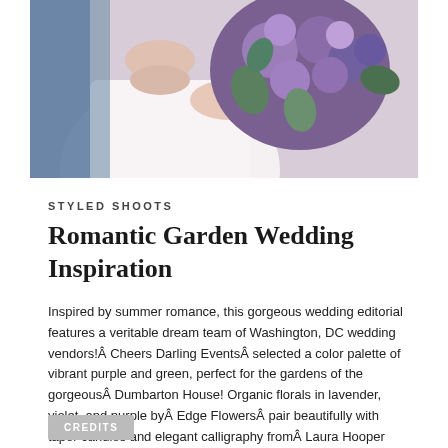[Figure (photo): Top portion of a wedding photo showing a bride in a white dress holding a bouquet of purple and green flowers, photographed from the waist up]
STYLED SHOOTS
Romantic Garden Wedding Inspiration
Inspired by summer romance, this gorgeous wedding editorial features a veritable dream team of Washington, DC wedding vendors!Â Cheers Darling EventsÂ selected a color palette of vibrant purple and green, perfect for the gardens of the gorgeousÂ Dumbarton House! Organic florals in lavender, violet, and purple byÂ Edge FlowersÂ pair beautifully with taper candles and elegant calligraphy fromÂ Laura Hooper Calligraphy. A lovely updo created byÂ Jewel Hair DesignÂ and soft makeup fromÂ Blend Make Up ArtistryÂ accent the classic lace strapless gown fromÂ Lovely Bride DC. We're completely smitten with each beautiful image byÂ K. Thompson Photography!